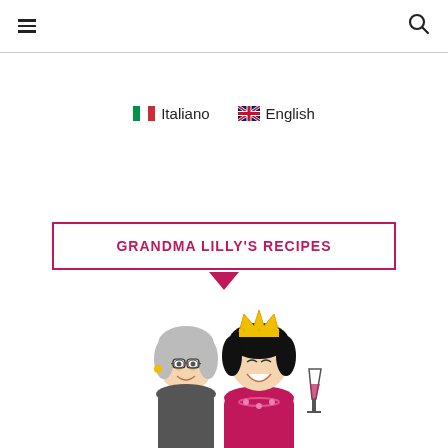Navigation bar with hamburger menu and search icon
Italiano   English
GRANDMA LILLY'S RECIPES
[Figure (illustration): Cartoon illustration of two smiling women, one older with glasses and short grey hair wearing yellow earrings, the other younger with black hair wearing a yellow crown and a red dress, holding a glass of red wine. The younger woman has a pink necklace.]